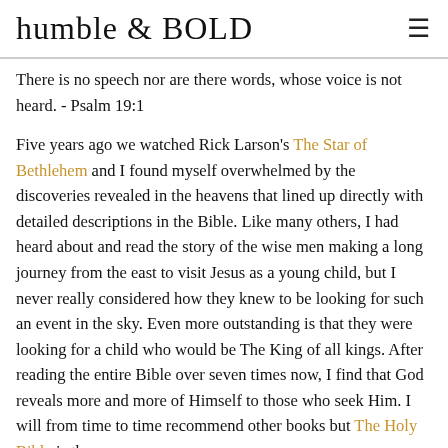humble & BOLD
There is no speech nor are there words, whose voice is not heard. - Psalm 19:1
Five years ago we watched Rick Larson's The Star of Bethlehem and I found myself overwhelmed by the discoveries revealed in the heavens that lined up directly with detailed descriptions in the Bible. Like many others, I had heard about and read the story of the wise men making a long journey from the east to visit Jesus as a young child, but I never really considered how they knew to be looking for such an event in the sky. Even more outstanding is that they were looking for a child who would be The King of all kings. After reading the entire Bible over seven times now, I find that God reveals more and more of Himself to those who seek Him. I will from time to time recommend other books but The Holy Bible is the